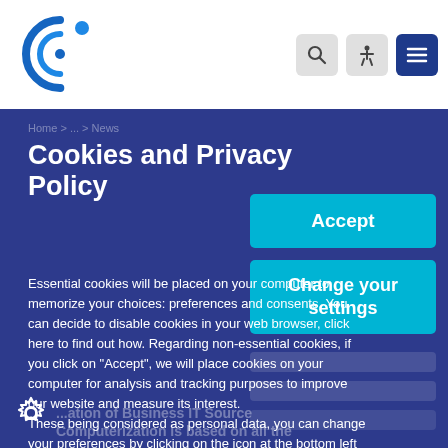[Figure (logo): Circular logo with C and O letters in blue]
Navigation header with search, accessibility, and menu icons
Cookies and Privacy Policy
Essential cookies will be placed on your computer to memorize your choices: preferences and consents. You can decide to disable cookies in your web browser, click here to find out how. Regarding non-essential cookies, if you click on "Accept", we will place cookies on your computer for analysis and tracking purposes to improve our website and measure its interest.
These being considered as personal data, you can change your preferences by clicking on the icon at the bottom left of the website and deactivate these analysis tools.